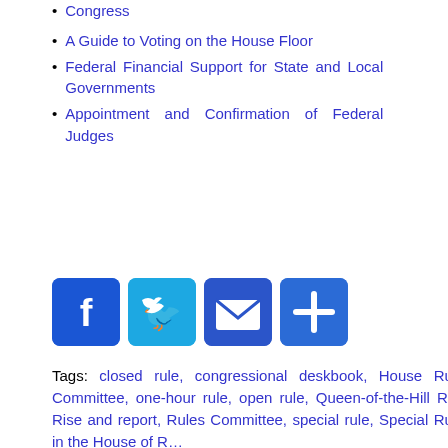Congress
A Guide to Voting on the House Floor
Federal Financial Support for State and Local Governments
Appointment and Confirmation of Federal Judges
[Figure (other): Social sharing buttons: Facebook, Twitter, Email, and a plus/share button]
Tags: closed rule, congressional deskbook, House Rules Committee, one-hour rule, open rule, Queen-of-the-Hill Rule, Rise and report, Rules Committee, special rule, Special Rules in the House of Representatives